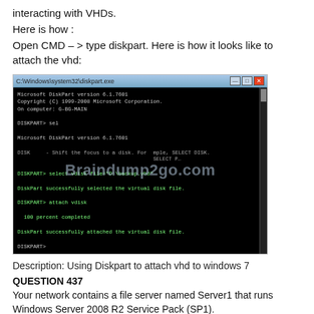interacting with VHDs.
Here is how :
Open CMD – > type diskpart. Here is how it looks like to attach the vhd:
[Figure (screenshot): Windows CMD window running diskpart.exe showing VHD attach commands. Title bar: C:\Windows\system32\diskpart.exe. Content shows Microsoft DiskPart version 6.1.7601, copyright notice, DISKPART> sel, then select vdisk file='D:\backup.vhd', DiskPart successfully selected the virtual disk file, DISKPART> attach vdisk, 100 percent completed, DiskPart successfully attached the virtual disk file, DISKPART>. Watermark: Braindump2go.com]
Description: Using Diskpart to attach vhd to windows 7
QUESTION 437
Your network contains a file server named Server1 that runs Windows Server 2008 R2 Service Pack (SP1).
Server1 is configured to create a full server backup every weekday at 05:00.
You discover that the backup job conflicts with an automated business process that completes at 05:05.